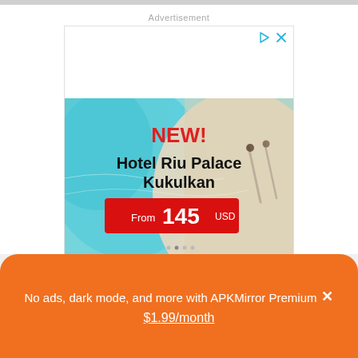Advertisement
[Figure (illustration): Hotel Riu Palace Kukulkan advertisement banner showing beach aerial view with two people, red NEW! text, hotel name, and price From 145 USD on red button]
Remove ads, dark theme, and more with ▲ Premium
No ads, dark mode, and more with APKMirror Premium ✕ $1.99/month